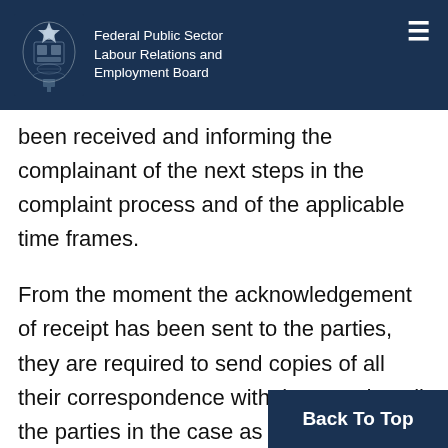Federal Public Sector Labour Relations and Employment Board
been received and informing the complainant of the next steps in the complaint process and of the applicable time frames.
From the moment the acknowledgement of receipt has been sent to the parties, they are required to send copies of all their correspondence with the Board to all the parties in the case as well.
Back To Top